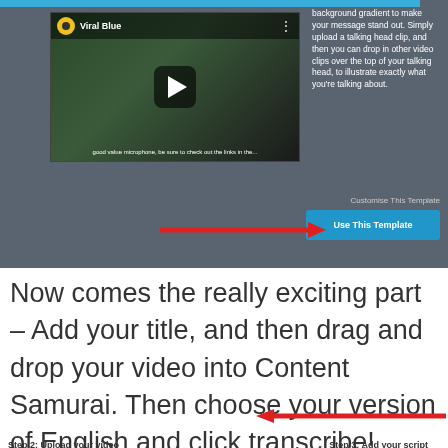[Figure (screenshot): Screenshot of a video template interface showing a video thumbnail labeled 'Viral Blue' on a dark gray background, with descriptive text on the right about background gradient and talking head clips, a 'Customise This Template' label, and a blue 'Use This Template' button. A red arrow points to the button.]
Now comes the really exciting part – Add your title, and then drag and drop your video into Content Samurai. Then choose your version of English and click transcribe!
[Figure (screenshot): Input field with placeholder text 'Enter a title for your video' with a red arrow pointing to it from the right.]
Step 2: Upload your video   Step 3: Add your script